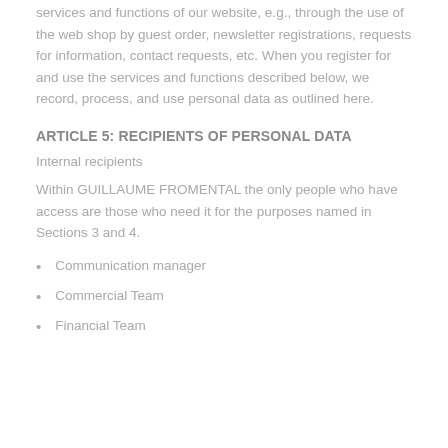services and functions of our website, e.g., through the use of the web shop by guest order, newsletter registrations, requests for information, contact requests, etc. When you register for and use the services and functions described below, we record, process, and use personal data as outlined here.
ARTICLE 5: RECIPIENTS OF PERSONAL DATA
Internal recipients
Within GUILLAUME FROMENTAL the only people who have access are those who need it for the purposes named in Sections 3 and 4.
Communication manager
Commercial Team
Financial Team